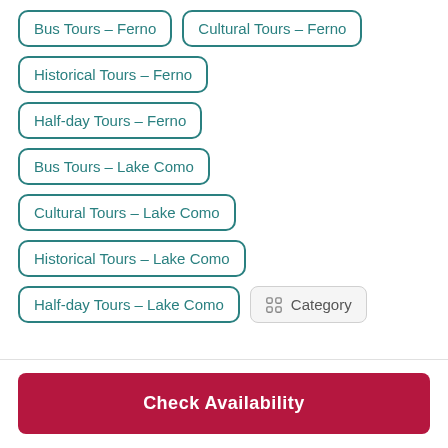Bus Tours - Ferno
Cultural Tours - Ferno
Historical Tours - Ferno
Half-day Tours - Ferno
Bus Tours - Lake Como
Cultural Tours - Lake Como
Historical Tours - Lake Como
Half-day Tours - Lake Como
Category
Check Availability